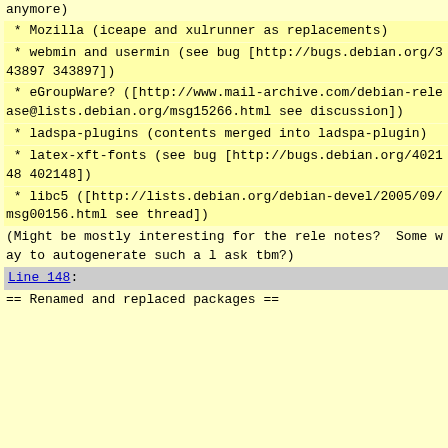anymore)
* Mozilla (iceape and xulrunner as replacements)
* webmin and usermin (see bug [http://bugs.debian.org/343897 343897])
* eGroupWare? ([http://www.mail-archive.com/debian-release@lists.debian.org/msg15266.html see discussion])
* ladspa-plugins (contents merged into ladspa-plugin)
* latex-xft-fonts (see bug [http://bugs.debian.org/402148 402148])
* libc5 ([http://lists.debian.org/debian-devel/2005/09/msg00156.html see thread])
(Might be mostly interesting for the release notes?  Some way to autogenerate such a list, ask tbm?)
Line 148:
== Renamed and replaced packages ==